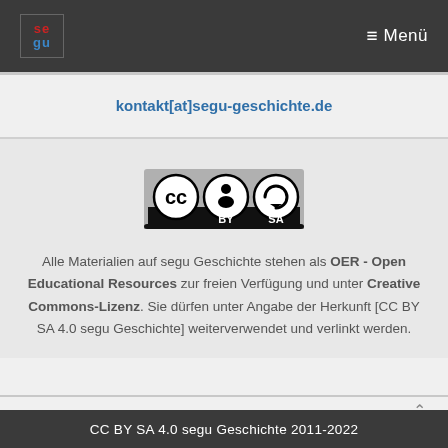segu  Menü
kontakt[at]segu-geschichte.de
[Figure (logo): Creative Commons CC BY SA license badge with CC, person icon, and circular arrows icon, with text BY SA below]
Alle Materialien auf segu Geschichte stehen als OER - Open Educational Resources zur freien Verfügung und unter Creative Commons-Lizenz. Sie dürfen unter Angabe der Herkunft [CC BY SA 4.0 segu Geschichte] weiterverwendet und verlinkt werden.
CC BY SA 4.0 segu Geschichte 2011-2022